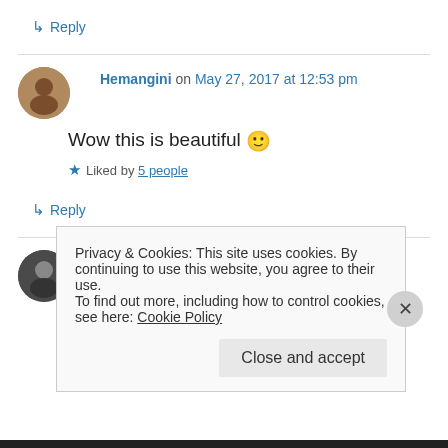↳ Reply
Hemangini on May 27, 2017 at 12:53 pm
Wow this is beautiful 🙂
★ Liked by 5 people
↳ Reply
BookerTalk on June 23, 2017 at 12:57 pm
Privacy & Cookies: This site uses cookies. By continuing to use this website, you agree to their use.
To find out more, including how to control cookies, see here: Cookie Policy
Close and accept